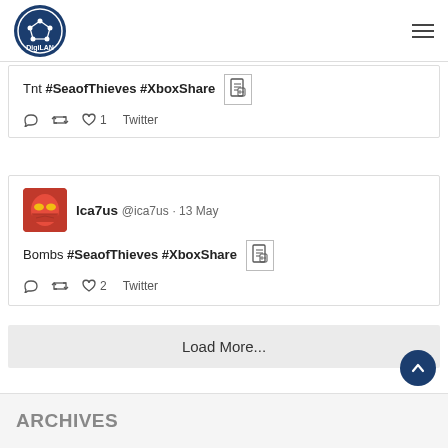[Figure (logo): DigiLAN logo - circular dark navy blue badge with network node icon and DigiLAN text]
Tnt #SeaofThieves #XboxShare
reply retweet ♥1 Twitter
[Figure (photo): Iron Man avatar - red and yellow Iron Man helmet on red background]
lca7us @ica7us · 13 May
Bombs #SeaofThieves #XboxShare
reply retweet ♥2 Twitter
Load More...
ARCHIVES